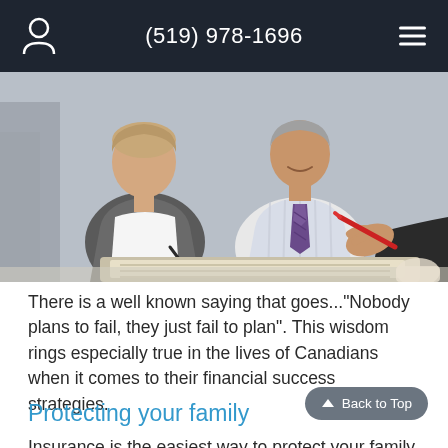(519) 978-1696
[Figure (photo): Two people reviewing documents with a third person pointing at them with a red pen, in a business consultation setting.]
There is a well known saying that goes..."Nobody plans to fail, they just fail to plan". This wisdom rings especially true in the lives of Canadians when it comes to their financial success strategies.
Protecting your family
Insurance is the easiest way to protect your family